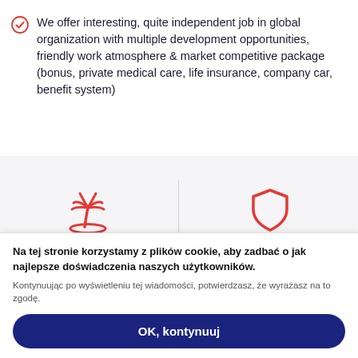We offer interesting, quite independent job in global organization with multiple development opportunities, friendly work atmosphere & market competitive package (bonus, private medical care, life insurance, company car, benefit system)
[Figure (illustration): Two benefit icons side by side on a light gray background: a red palm tree/island icon labeled 'Dodatki do urlopu' and a red shield icon labeled 'Dodatkowe ubezpieczenie']
Na tej stronie korzystamy z plików cookie, aby zadbać o jak najlepsze doświadczenia naszych użytkowników. Kontynuując po wyświetleniu tej wiadomości, potwierdzasz, że wyrażasz na to zgodę.
OK, kontynuuj